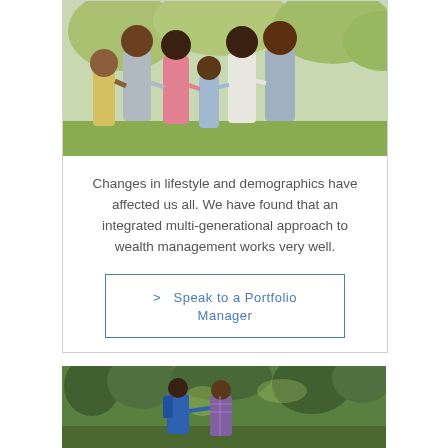[Figure (photo): Family of several people including children walking together outdoors, smiling, in a park setting.]
Changes in lifestyle and demographics have affected us all. We have found that an integrated multi-generational approach to wealth management works very well.
> Speak to a Portfolio Manager
[Figure (photo): Two people hiking in a forest, viewed from behind, one wearing a blue jacket with a backpack and one in a plaid shirt.]